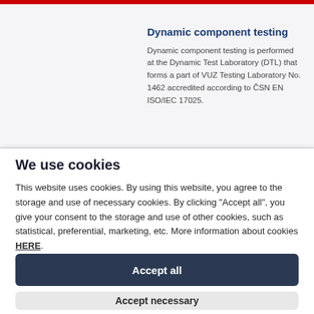Dynamic component testing
Dynamic component testing is performed at the Dynamic Test Laboratory (DTL) that forms a part of VUZ Testing Laboratory No. 1462 accredited according to ČSN EN ISO/IEC 17025.
We use cookies
This website uses cookies. By using this website, you agree to the storage and use of necessary cookies. By clicking "Accept all", you give your consent to the storage and use of other cookies, such as statistical, preferential, marketing, etc. More information about cookies HERE.
Accept all
Accept necessary